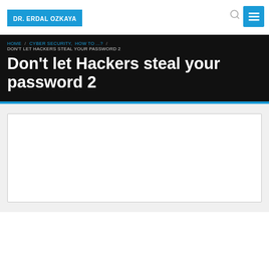DR. ERDAL OZKAYA
HOME / CYBER SECURITY, HOW TO ...? / DON'T LET HACKERS STEAL YOUR PASSWORD 2
Don't let Hackers steal your password 2
[Figure (other): Empty white image placeholder box]